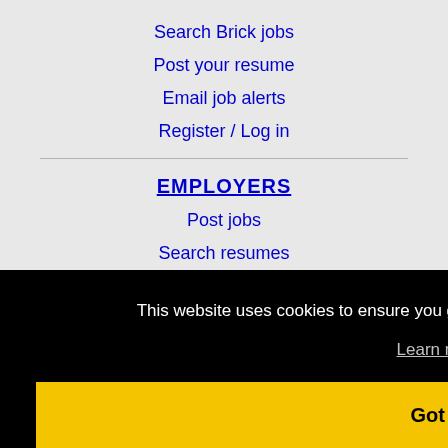Search Brick jobs
Post your resume
Email job alerts
Register / Log in
EMPLOYERS
Post jobs
Search resumes
This website uses cookies to ensure you get the best experience on our website.
Learn more
Got it!